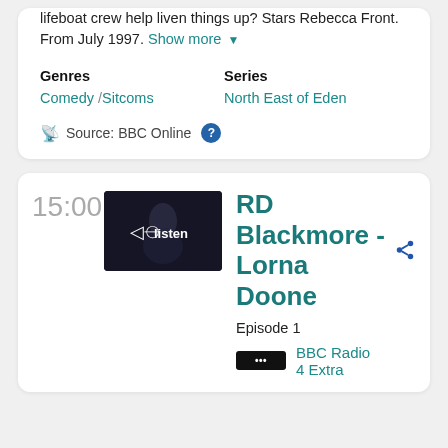lifeboat crew help liven things up? Stars Rebecca Front. From July 1997. Show more ▼
Genres: Comedy / Sitcoms | Series: North East of Eden
Source: BBC Online
15:00
[Figure (screenshot): Thumbnail image with listen button overlay showing a dark moody scene]
RD Blackmore - Lorna Doone
Episode 1
BBC Radio 4 Extra